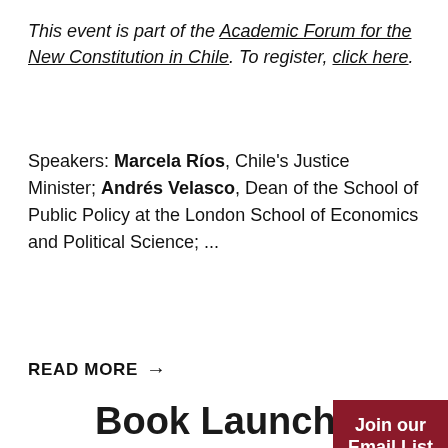This event is part of the Academic Forum for the New Constitution in Chile. To register, click here.
Speakers: Marcela Ríos, Chile's Justice Minister; Andrés Velasco, Dean of the School of Public Policy at the London School of Economics and Political Science; ...
READ MORE →
Book Launch: Constructing Latin America. Architecture, Politics, and Race at the Museum of Modern Art